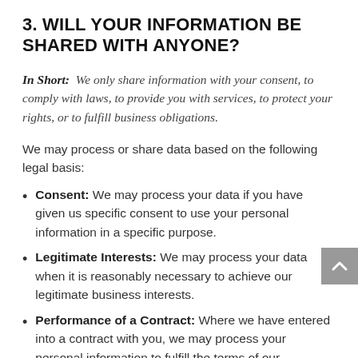3. WILL YOUR INFORMATION BE SHARED WITH ANYONE?
In Short:  We only share information with your consent, to comply with laws, to provide you with services, to protect your rights, or to fulfill business obligations.
We may process or share data based on the following legal basis:
Consent: We may process your data if you have given us specific consent to use your personal information in a specific purpose.
Legitimate Interests: We may process your data when it is reasonably necessary to achieve our legitimate business interests.
Performance of a Contract: Where we have entered into a contract with you, we may process your personal information to fulfill the terms of our